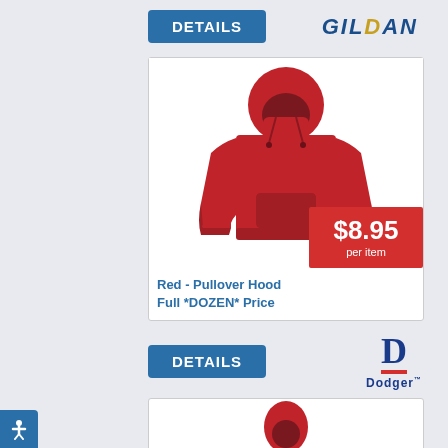[Figure (logo): DETAILS button (blue rounded rectangle) and GILDAN brand logo in navy italic bold text]
[Figure (photo): Red pullover hoodie sweatshirt on white background inside a product card with a red price badge showing $8.95 per item]
Red - Pullover Hood Full *DOZEN* Price
$8.95 per item
[Figure (logo): DETAILS button (blue) and Dodger brand logo with a D in blue/red and text 'Dodger']
[Figure (photo): Partial view of another red hoodie product card at the bottom of the page]